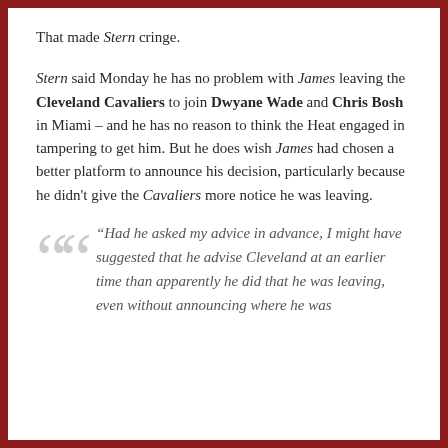That made Stern cringe.
Stern said Monday he has no problem with James leaving the Cleveland Cavaliers to join Dwyane Wade and Chris Bosh in Miami – and he has no reason to think the Heat engaged in tampering to get him. But he does wish James had chosen a better platform to announce his decision, particularly because he didn't give the Cavaliers more notice he was leaving.
“Had he asked my advice in advance, I might have suggested that he advise Cleveland at an earlier time than apparently he did that he was leaving, even without announcing where he was